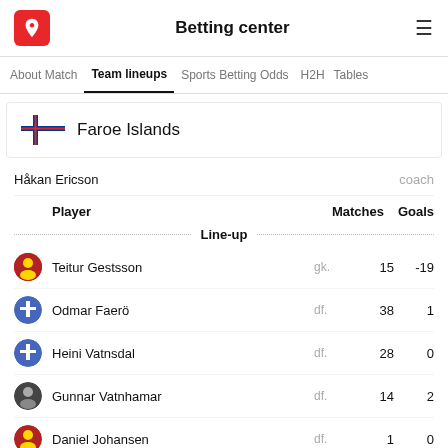Betting center
About Match | Team lineups | Sports Betting Odds | H2H | Tables
Faroe Islands
Håkan Ericson   coach
| Player |  | Matches | Goals |
| --- | --- | --- | --- |
| Teitur Gestsson | gk. | 15 | -19 |
| Odmar Faerö | df. | 38 | 1 |
| Heini Vatnsdal | df. | 28 | 0 |
| Gunnar Vatnhamar | df. | 14 | 2 |
| Daniel Johansen | df. | 1 | 0 |